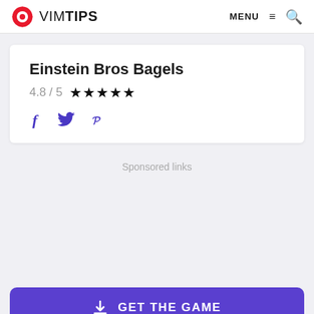VIMTIPS | MENU | Search
Einstein Bros Bagels
4.8 / 5 ★★★★★
Social icons: Facebook, Twitter, Pinterest
Sponsored links
GET THE GAME